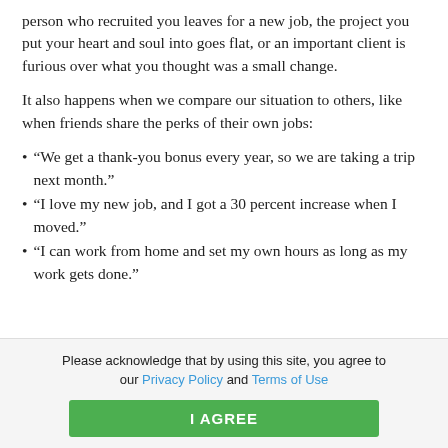person who recruited you leaves for a new job, the project you put your heart and soul into goes flat, or an important client is furious over what you thought was a small change.
It also happens when we compare our situation to others, like when friends share the perks of their own jobs:
“We get a thank-you bonus every year, so we are taking a trip next month.”
“I love my new job, and I got a 30 percent increase when I moved.”
“I can work from home and set my own hours as long as my work gets done.”
Please acknowledge that by using this site, you agree to our Privacy Policy and Terms of Use